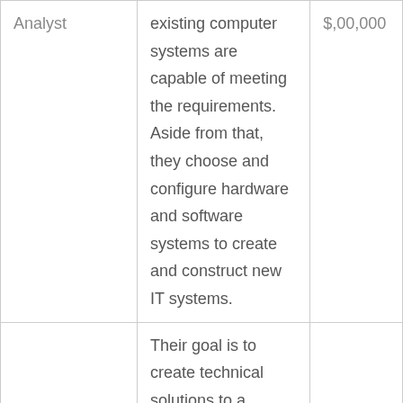| Analyst | existing computer systems are capable of meeting the requirements. Aside from that, they choose and configure hardware and software systems to create and construct new IT systems. | $,00,000 |
|  | Their goal is to create technical solutions to a |  |